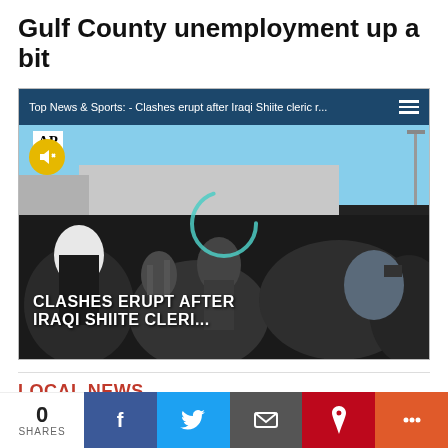Gulf County unemployment up a bit
[Figure (screenshot): Embedded AP video player showing news ticker bar with text 'Top News & Sports: - Clashes erupt after Iraqi Shiite cleric r...' and hamburger menu icon. Video thumbnail shows crowd scene with text overlay 'CLASHES ERUPT AFTER IRAQI SHIITE CLERI...' with AP logo, mute button, and loading spinner.]
LOCAL NEWS
[Figure (infographic): Social share bar showing 0 SHARES count, Facebook, Twitter, Email, Pinterest, and More buttons]